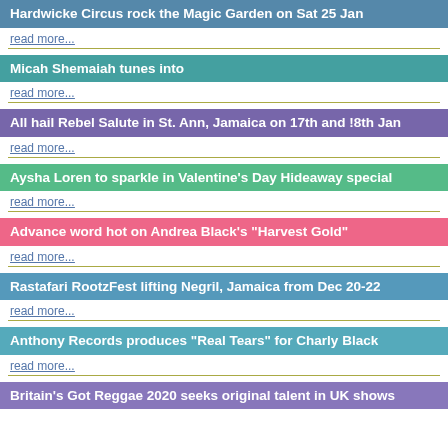Hardwicke Circus rock the Magic Garden on Sat 25 Jan
read more...
Micah Shemaiah tunes into
read more...
All hail Rebel Salute in St. Ann, Jamaica on 17th and !8th Jan
read more...
Aysha Loren to sparkle in Valentine's Day Hideaway special
read more...
Advance word hot on Andrea Black's "Harvest Gold"
read more...
Rastafari RootzFest lifting Negril, Jamaica from Dec 20-22
read more...
Anthony Records produces "Real Tears" for Charly Black
read more...
Britain's Got Reggae 2020 seeks original talent in UK shows